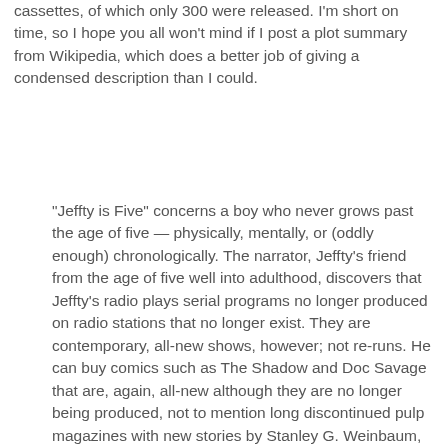cassettes, of which only 300 were released. I'm short on time, so I hope you all won't mind if I post a plot summary from Wikipedia, which does a better job of giving a condensed description than I could.
"Jeffty is Five" concerns a boy who never grows past the age of five — physically, mentally, or (oddly enough) chronologically. The narrator, Jeffty's friend from the age of five well into adulthood, discovers that Jeffty's radio plays serial programs no longer produced on radio stations that no longer exist. They are contemporary, all-new shows, however; not re-runs. He can buy comics such as The Shadow and Doc Savage that are, again, all-new although they are no longer being produced, not to mention long discontinued pulp magazines with new stories by Stanley G. Weinbaum, Edgar Rice Burroughs and Robert E. Howard despite the authors being long dead. Jeffty can even watch films that are adaptations of old pulp fiction novels like Alfred Bester's The Demolished Man